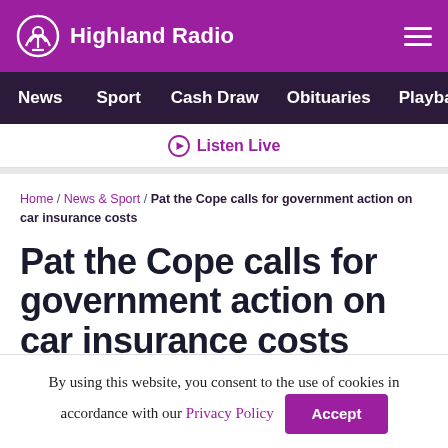Highland Radio
News | Sport | Cash Draw | Obituaries | Playback | S
Listen Live
Home / News & Sport / Pat the Cope calls for government action on car insurance costs
Pat the Cope calls for government action on car insurance costs
By using this website, you consent to the use of cookies in accordance with our Privacy Policy